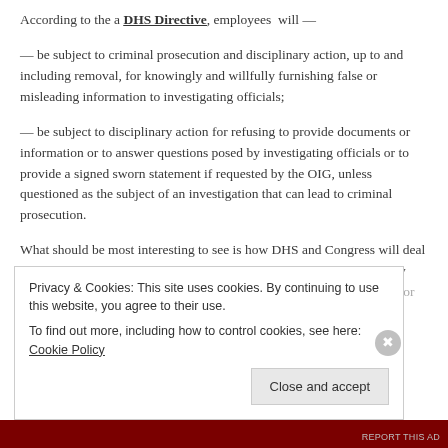According to the a DHS Directive, employees will —
— be subject to criminal prosecution and disciplinary action, up to and including removal, for knowingly and willfully furnishing false or misleading information to investigating officials;
— be subject to disciplinary action for refusing to provide documents or information or to answer questions posed by investigating officials or to provide a signed sworn statement if requested by the OIG, unless questioned as the subject of an investigation that can lead to criminal prosecution.
What should be most interesting to see is how DHS and Congress will deal with this case. It would send a signal to the rest of the bureaucracy how serious they are in their support of government oversight, and whether or not there are real consequences for failure to cooperate with
Privacy & Cookies: This site uses cookies. By continuing to use this website, you agree to their use.
To find out more, including how to control cookies, see here: Cookie Policy
Close and accept